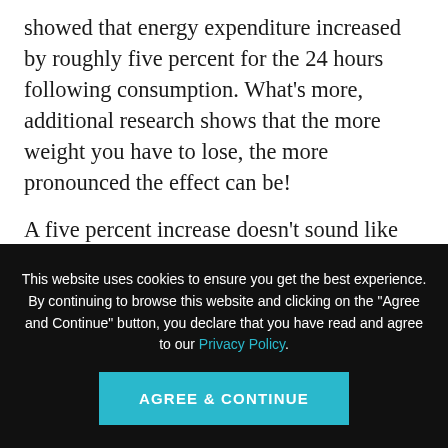showed that energy expenditure increased by roughly five percent for the 24 hours following consumption. What's more, additional research shows that the more weight you have to lose, the more pronounced the effect can be!
A five percent increase doesn't sound like much, but it adds up quickly.
This website uses cookies to ensure you get the best experience. By continuing to browse this website and clicking on the "Agree and Continue" button, you declare that you have read and agree to our Privacy Policy.
AGREE & CONTINUE